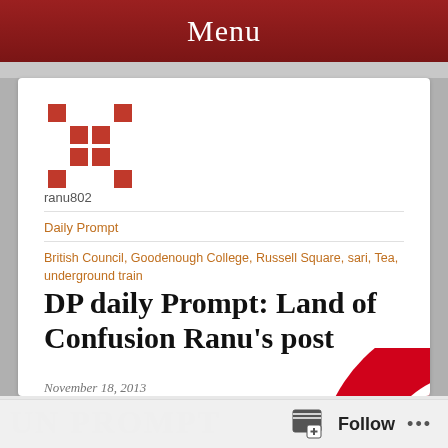Menu
[Figure (logo): Decorative red and white mosaic/pattern logo mark]
ranu802
Daily Prompt
British Council, Goodenough College, Russell Square, sari, Tea, underground train
DP daily Prompt: Land of Confusion Ranu’s post
November 18, 2013
I was once invited to a tea party in
[Figure (illustration): London Underground roundel sign showing large red circle/ring with blue horizontal bar across the middle]
Follow